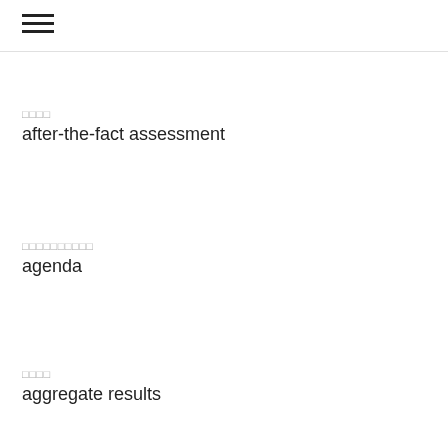≡
□□□□
after-the-fact assessment
□□□□□□□□□□
agenda
□□□□
aggregate results